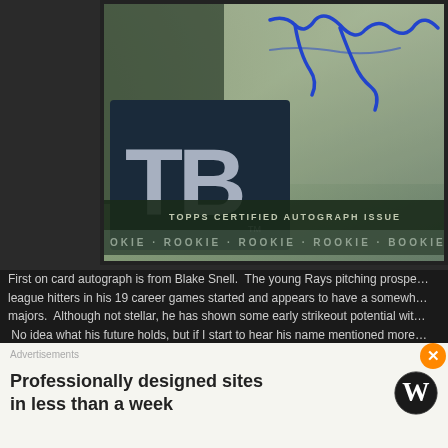[Figure (photo): Baseball trading card showing Tampa Bay Rays TB logo, a blue cursive autograph signature, text reading TOPPS CERTIFIED AUTOGRAPH ISSUE and ROOKIE repeated across the bottom]
First on card autograph is from Blake Snell.  The young Rays pitching prospect has dominated league hitters in his 19 career games started and appears to have a somewhat bright future in the majors.  Although not stellar, he has shown some early strikeout potential with his repertoire.  No idea what his future holds, but if I start to hear his name mentioned more often, I will definitely check him out.
Advertisements
[Figure (screenshot): Advertisement banner — Professionally designed sites in less than a week, with WordPress logo]
Advertisements